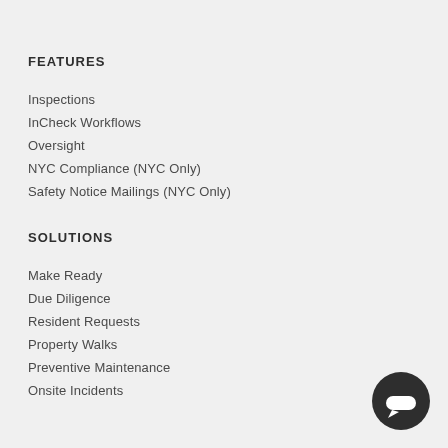FEATURES
Inspections
InCheck Workflows
Oversight
NYC Compliance (NYC Only)
Safety Notice Mailings (NYC Only)
SOLUTIONS
Make Ready
Due Diligence
Resident Requests
Property Walks
Preventive Maintenance
Onsite Incidents